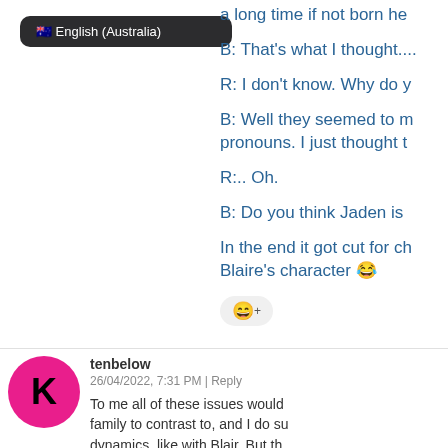[Figure (screenshot): Language badge showing Australian flag emoji and text 'English (Australia)' on dark rounded rectangle]
a long time if not born he
B: That's what I thought....
R: I don't know. Why do y
B: Well they seemed to m pronouns. I just thought t
R:.. Oh.
B: Do you think Jaden is
In the end it got cut for ch Blaire's character 😂
[Figure (other): Emoji reaction pill with add-reaction smiley icon]
tenbelow
26/04/2022, 7:31 PM | Reply
To me all of these issues would family to contrast to, and I do su dynamics, like with Blair. But th